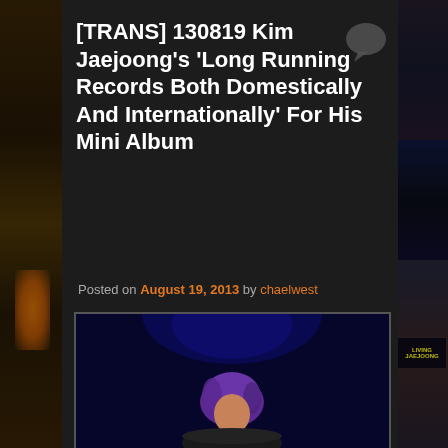[TRANS] 130819 Kim Jaejoong's 'Long Running Records Both Domestically And Internationally' For His Mini Album
Posted on August 19, 2013 by chaelwest
[Figure (photo): Photo of Kim Jaejoong performing on stage with purple hair, dark blue stage lighting background]